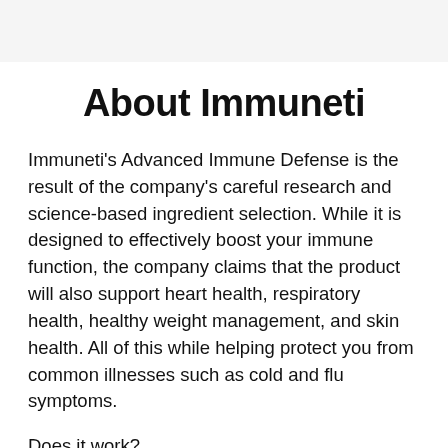About Immuneti
Immuneti's Advanced Immune Defense is the result of the company's careful research and science-based ingredient selection. While it is designed to effectively boost your immune function, the company claims that the product will also support heart health, respiratory health, healthy weight management, and skin health. All of this while helping protect you from common illnesses such as cold and flu symptoms.
Does it work?